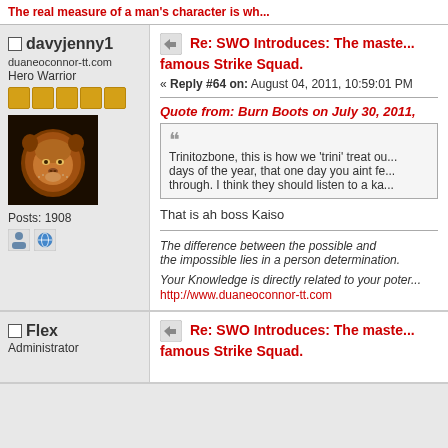The real measure of a man's character is wh...
davyjenny1
duaneoconnor-tt.com
Hero Warrior
Posts: 1908
[Figure (photo): Lion avatar image]
Re: SWO Introduces: The master famous Strike Squad.
« Reply #64 on: August 04, 2011, 10:59:01 PM
Quote from: Burn Boots on July 30, 2011,
Trinitozbone, this is how we 'trini' treat ou... days of the year, that one day you aint fe... through. I think they should listen to a ka...
That is ah boss Kaiso
The difference between the possible and the impossible lies in a person determination.
Your Knowledge is directly related to your poter...
http://www.duaneoconnor-tt.com
Flex
Administrator
Re: SWO Introduces: The master famous Strike Squad.